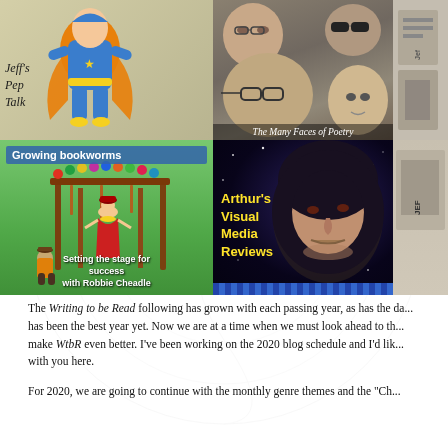[Figure (illustration): Grid of blog feature images: Jeff's Pep Talk (superhero illustration), The Many Faces of Poetry (group photo), Growing Bookworms with Robbie Cheadle (clay figurines at market stall), Arthur's Visual Media Reviews (man's face on starry background), and partial right-side images]
The Writing to be Read following has grown with each passing year, as has the da... has been the best year yet. Now we are at a time when we must look ahead to th... make WtbR even better. I've been working on the 2020 blog schedule and I'd lik... with you here.
For 2020, we are going to continue with the monthly genre themes and the "Ch...